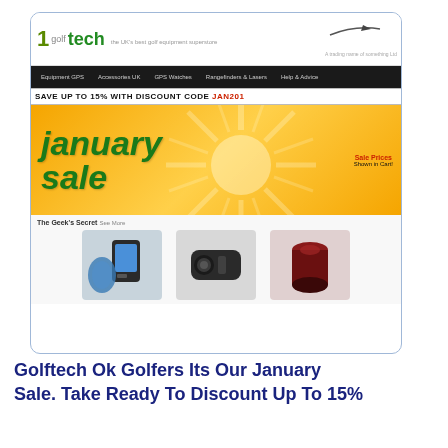[Figure (screenshot): Screenshot of Golftech website showing January sale banner with discount code JAN201, orange sale banner with 'january sale' text, navigation bar, and three golf product images below.]
Golftech Ok Golfers Its Our January Sale. Take Ready To Discount Up To 15%